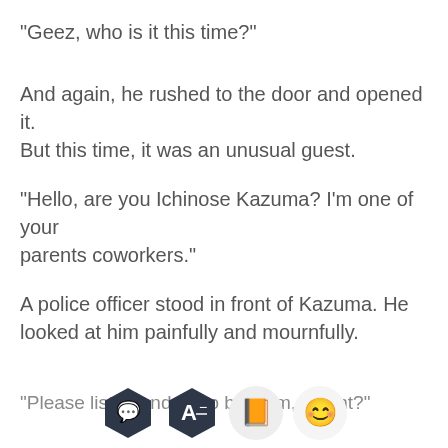"Geez, who is it this time?"
And again, he rushed to the door and opened it. But this time, it was an unusual guest.
"Hello, are you Ichinose Kazuma? I'm one of your parents coworkers."
A police officer stood in front of Kazuma. He looked at him painfully and mournfully.
"Please listen and try to be calm, alright?"
[Figure (screenshot): App toolbar with four icons: speech bubble (dark hexagon), letter A with minus (dark hexagon), orange book (light circle), and smiling emoji (light circle)]